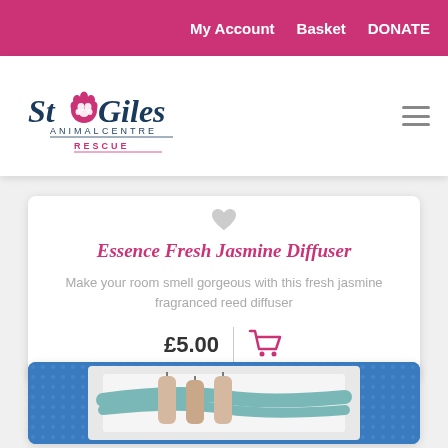My Account  Basket  DONATE
[Figure (logo): St Giles Animal Centre Rescue logo with paw print icon]
Essence Fresh Jasmine Diffuser
Make your room smell gorgeous with this fresh jasmine fragranced reed diffuser
£5.00
[Figure (photo): Product image showing candles with teal/blue ribbons on a blue dotted background]